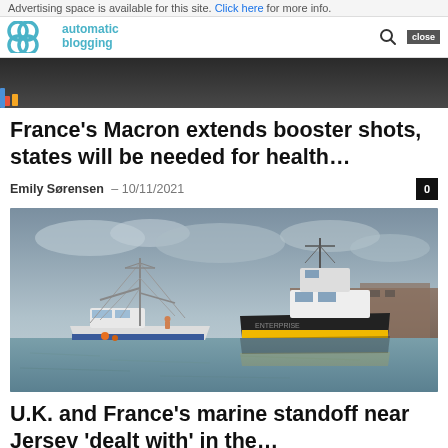Advertising space is available for this site. Click here for more info.
automatic blogging
[Figure (photo): Partial view of a person in dark clothing, cropped at top of page]
France’s Macron extends booster shots, states will be needed for health…
Emily Sørensen – 10/11/2021
[Figure (photo): Harbor scene with two vessels: a white fishing trawler with blue hull and overhead rigging on the left, and a larger black-and-yellow boat on the right, under a cloudy grey sky with calm water in the foreground and dock/warehouse structures in the background.]
U.K. and France’s marine standoff near Jersey ‘dealt with’ in the…